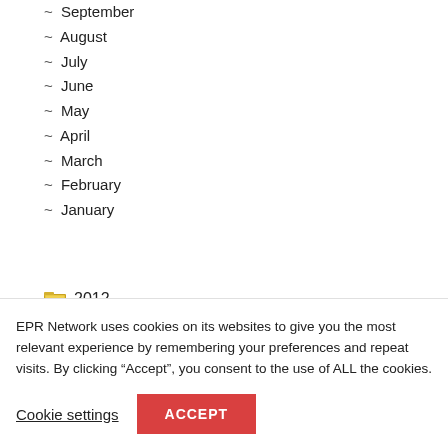~ September
~ August
~ July
~ June
~ May
~ April
~ March
~ February
~ January
2012
2011
2010
EPR Network uses cookies on its websites to give you the most relevant experience by remembering your preferences and repeat visits. By clicking “Accept”, you consent to the use of ALL the cookies.
Cookie settings
ACCEPT